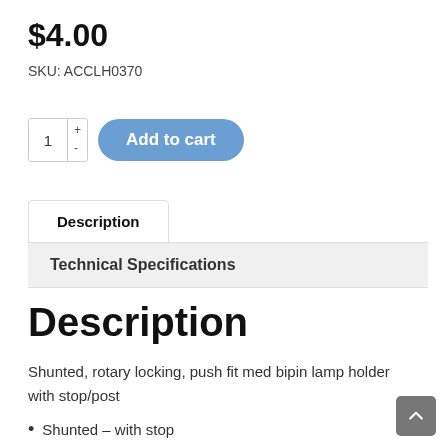$4.00
SKU: ACCLH0370
1 + - Add to cart
Description
Technical Specifications
Description
Shunted, rotary locking, push fit med bipin lamp holder with stop/post
Shunted – with stop